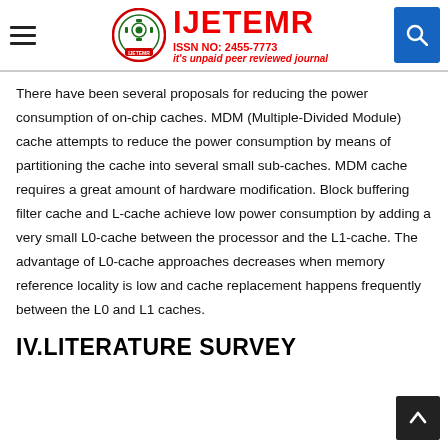IJETEMR — ISSN NO: 2455-7773 — it's unpaid peer reviewed journal
There have been several proposals for reducing the power consumption of on-chip caches. MDM (Multiple-Divided Module) cache attempts to reduce the power consumption by means of partitioning the cache into several small sub-caches. MDM cache requires a great amount of hardware modification. Block buffering filter cache and L-cache achieve low power consumption by adding a very small L0-cache between the processor and the L1-cache. The advantage of L0-cache approaches decreases when memory reference locality is low and cache replacement happens frequently between the L0 and L1 caches.
IV.LITERATURE SURVEY